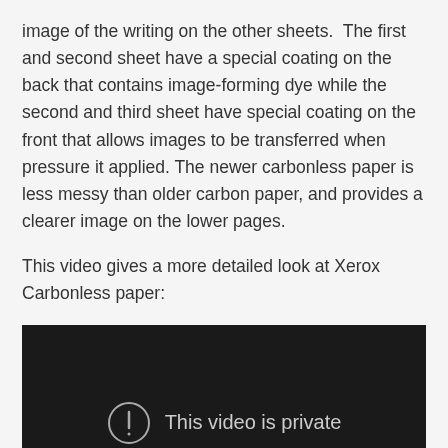image of the writing on the other sheets.  The first and second sheet have a special coating on the back that contains image-forming dye while the second and third sheet have special coating on the front that allows images to be transferred when pressure it applied. The newer carbonless paper is less messy than older carbon paper, and provides a clearer image on the lower pages.
This video gives a more detailed look at Xerox Carbonless paper:
[Figure (screenshot): Embedded video player showing a private video error message. Dark background with a circular exclamation mark icon and the text 'This video is private'.]